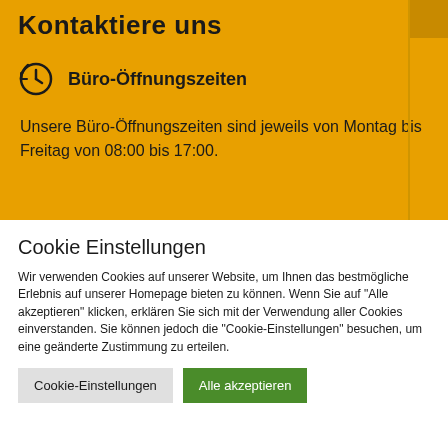Kontaktiere uns
Büro-Öffnungszeiten
Unsere Büro-Öffnungszeiten sind jeweils von Montag bis Freitag von 08:00 bis 17:00.
Cookie Einstellungen
Wir verwenden Cookies auf unserer Website, um Ihnen das bestmögliche Erlebnis auf unserer Homepage bieten zu können. Wenn Sie auf "Alle akzeptieren" klicken, erklären Sie sich mit der Verwendung aller Cookies einverstanden. Sie können jedoch die "Cookie-Einstellungen" besuchen, um eine geänderte Zustimmung zu erteilen.
Cookie-Einstellungen
Alle akzeptieren